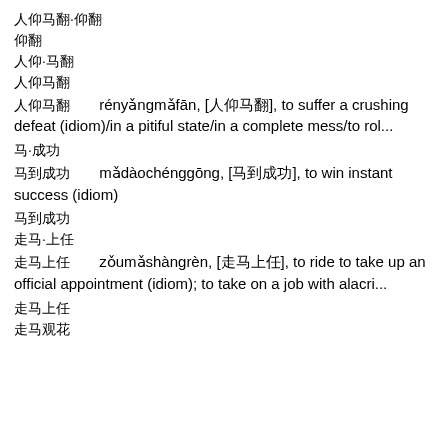人仰马翻·仰翻
仰翻
人仰·马翻
人仰马翻
人仰马翻　rényǎngmǎfān, [人仰马翻], to suffer a crushing defeat (idiom)/in a pitiful state/in a complete mess/to rol...
马·成功
马到成功　mǎdàochénggōng, [马到成功], to win instant success (idiom)
马到成功
走马·上任
走马上任　zǒumǎshàngrèn, [走马上任], to ride to take up an official appointment (idiom); to take on a job with alacri...
走马上任
走马观花